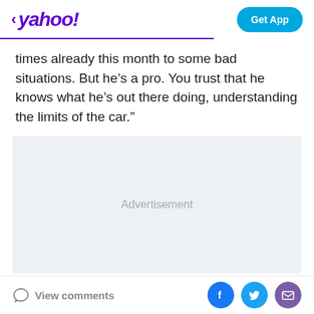< yahoo! | Get App
times already this month to some bad situations. But he’s a pro. You trust that he knows what he’s out there doing, understanding the limits of the car.”
[Figure (other): Advertisement placeholder box with light gray background and 'Advertisement' text centered]
View comments | Facebook share | Twitter share | Email share